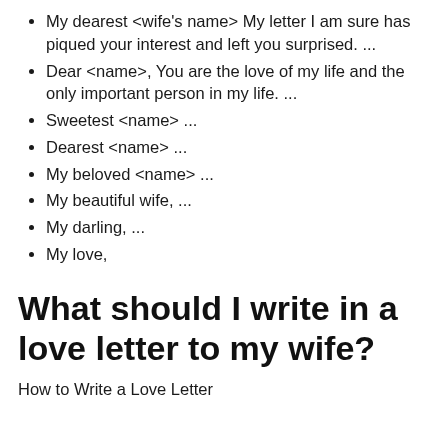My dearest <wife's name> My letter I am sure has piqued your interest and left you surprised. ...
Dear <name>, You are the love of my life and the only important person in my life. ...
Sweetest <name> ...
Dearest <name> ...
My beloved <name> ...
My beautiful wife, ...
My darling, ...
My love,
What should I write in a love letter to my wife?
How to Write a Love Letter